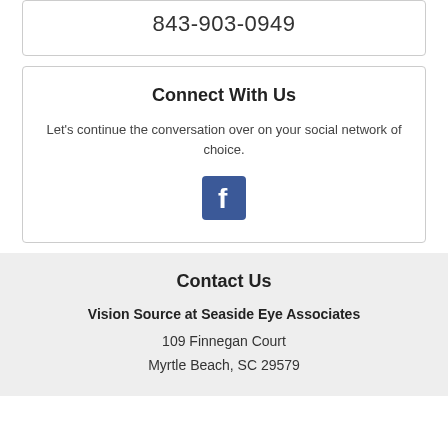843-903-0949
Connect With Us
Let's continue the conversation over on your social network of choice.
[Figure (logo): Facebook logo icon - white 'f' on blue square background]
Contact Us
Vision Source at Seaside Eye Associates
109 Finnegan Court
Myrtle Beach, SC 29579